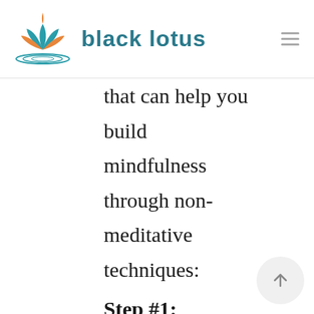black lotus
that can help you build mindfulness through non-meditative techniques:
Step #1: Identify Opportunities: